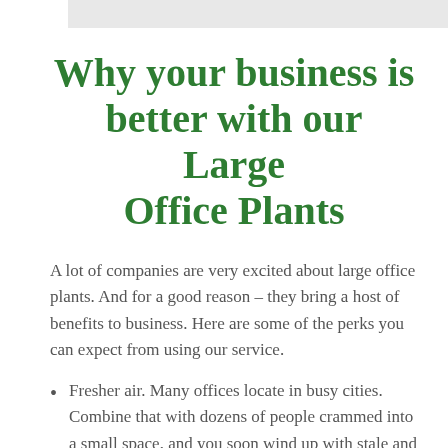Why your business is better with our Large Office Plants
A lot of companies are very excited about large office plants. And for a good reason – they bring a host of benefits to business. Here are some of the perks you can expect from using our service.
Fresher air. Many offices locate in busy cities. Combine that with dozens of people crammed into a small space, and you soon wind up with stale and polluted air in the office environment. Large office plants, from us, however, allow you